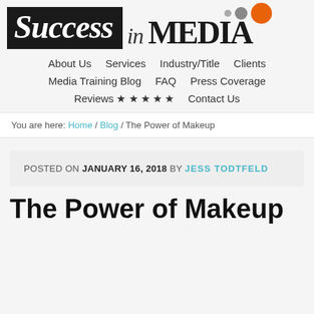[Figure (logo): Success in MEDIA logo with black box containing italic 'Success' in white, followed by 'in MEDIA' in dark text, with decorative dots (small gray, medium gray, large orange) above right]
About Us  Services  Industry/Title  Clients  Media Training Blog  FAQ  Press Coverage  Reviews ★ ★ ★ ★ ★  Contact Us
You are here: Home / Blog / The Power of Makeup
POSTED ON JANUARY 16, 2018 BY JESS TODTFELD
The Power of Makeup